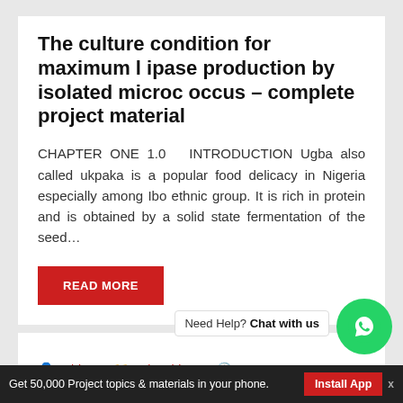The culture condition for maximum lipase production by isolated micrococcus – complete project material
CHAPTER ONE 1.0   INTRODUCTION Ugba also called ukpaka is a popular food delicacy in Nigeria especially among Ibo ethnic group. It is rich in protein and is obtained by a solid state fermentation of the seed…
READ MORE
Chima   Micro bio'...   May 16, 2022
Need Help? Chat with us
Get 50,000 Project topics & materials in your phone.   Install App  x